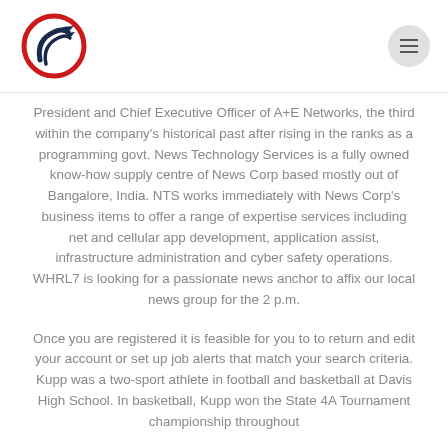[Figure (logo): Circular logo with red ring and dark blue upward arrows inside, on white background]
President and Chief Executive Officer of A+E Networks, the third within the company's historical past after rising in the ranks as a programming govt. News Technology Services is a fully owned know-how supply centre of News Corp based mostly out of Bangalore, India. NTS works immediately with News Corp's business items to offer a range of expertise services including net and cellular app development, application assist, infrastructure administration and cyber safety operations. WHRL7 is looking for a passionate news anchor to affix our local news group for the 2 p.m.
Once you are registered it is feasible for you to to return and edit your account or set up job alerts that match your search criteria. Kupp was a two-sport athlete in football and basketball at Davis High School. In basketball, Kupp won the State 4A Tournament championship throughout